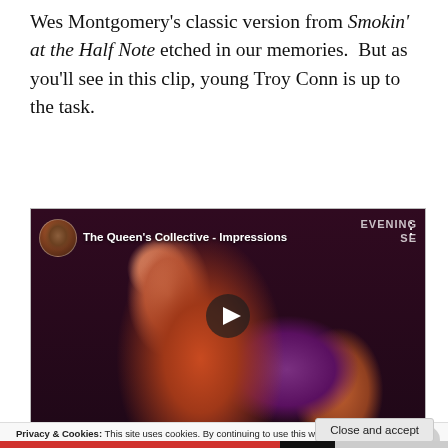Wes Montgomery's classic version from Smokin' at the Half Note etched in our memories.  But as you'll see in this clip, young Troy Conn is up to the task.
[Figure (screenshot): YouTube video embed showing 'The Queen's Collective - Impressions' with a guitarist performing on stage in a dimly lit venue. A play button is visible in the center.]
Privacy & Cookies: This site uses cookies. By continuing to use this website, you agree to their use.
To find out more, including how to control cookies, see here: Cookie Policy